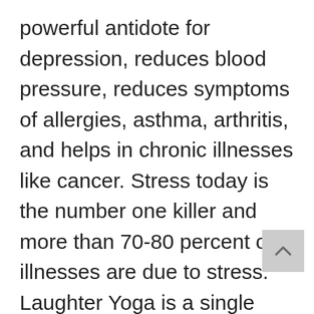powerful antidote for depression, reduces blood pressure, reduces symptoms of allergies, asthma, arthritis, and helps in chronic illnesses like cancer. Stress today is the number one killer and more than 70-80 percent of illnesses are due to stress. Laughter Yoga is a single exercise routine which reduces physical, mental, and emotional stress simultaneously and brings an emotional balance. People can feel